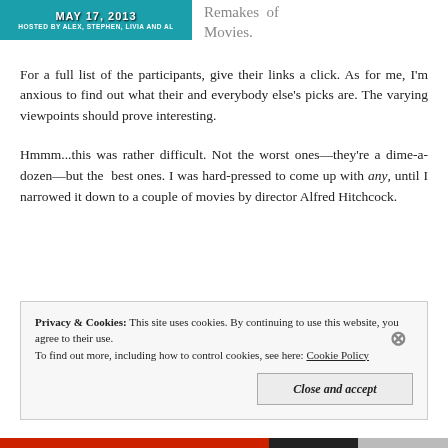[Figure (screenshot): Banner image with teal background showing 'MAY 17, 2013 HOSTED BY ALEX, STEPHEN, LIVIA AND AL']
Remakes of Movies.
For a full list of the participants, give their links a click. As for me, I'm anxious to find out what their and everybody else's picks are. The varying viewpoints should prove interesting.
Hmmm...this was rather difficult. Not the worst ones—they're a dime-a-dozen—but the best ones. I was hard-pressed to come up with any, until I narrowed it down to a couple of movies by director Alfred Hitchcock.
Privacy & Cookies: This site uses cookies. By continuing to use this website, you agree to their use.
To find out more, including how to control cookies, see here: Cookie Policy
Close and accept